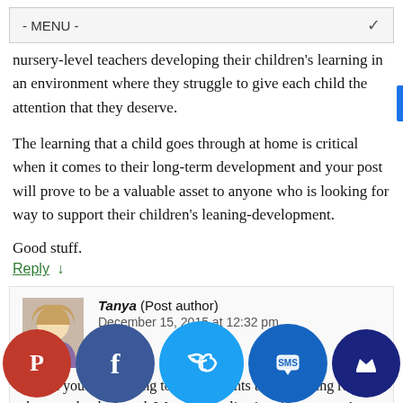- MENU -
nursery-level teachers developing their children's learning in an environment where they struggle to give each child the attention that they deserve.
The learning that a child goes through at home is critical when it comes to their long-term development and your post will prove to be a valuable asset to anyone who is looking for way to support their children's leaning-development.
Good stuff.
Reply ↓
Tanya (Post author)
December 15, 2015 at 12:32 pm
Thank you! I am trying to show parents that parenting really does need to be heard. We are complicating things now. A